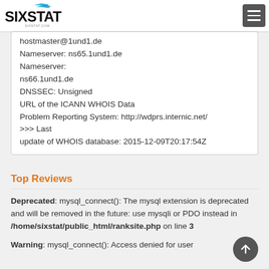SIXSTAT logo and navigation menu
hostmaster@1und1.de
Nameserver: ns65.1und1.de
Nameserver:
ns66.1und1.de
DNSSEC: Unsigned
URL of the ICANN WHOIS Data
Problem Reporting System: http://wdprs.internic.net/
>>> Last
update of WHOIS database: 2015-12-09T20:17:54Z
Top Reviews
Deprecated: mysql_connect(): The mysql extension is deprecated and will be removed in the future: use mysqli or PDO instead in /home/sixstat/public_html/ranksite.php on line 3
Warning: mysql_connect(): Access denied for user